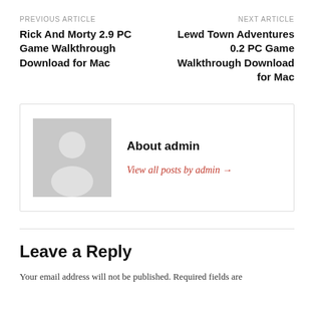PREVIOUS ARTICLE
Rick And Morty 2.9 PC Game Walkthrough Download for Mac
NEXT ARTICLE
Lewd Town Adventures 0.2 PC Game Walkthrough Download for Mac
[Figure (illustration): Generic user avatar placeholder image showing a silhouette of a person (head and shoulders) on a gray background]
About admin
View all posts by admin →
Leave a Reply
Your email address will not be published. Required fields are